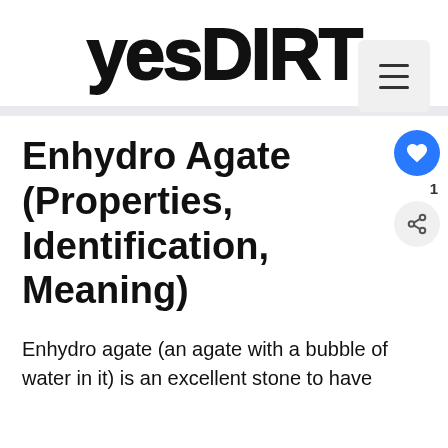yesDIRT
Enhydro Agate (Properties, Identification, Meaning)
Enhydro agate (an agate with a bubble of water in it) is an excellent stone to have